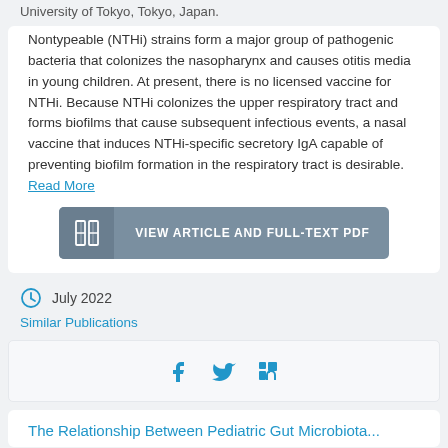Nontypeable (NTHi) strains form a major group of pathogenic bacteria that colonizes the nasopharynx and causes otitis media in young children. At present, there is no licensed vaccine for NTHi. Because NTHi colonizes the upper respiratory tract and forms biofilms that cause subsequent infectious events, a nasal vaccine that induces NTHi-specific secretory IgA capable of preventing biofilm formation in the respiratory tract is desirable. Read More
[Figure (other): Button: VIEW ARTICLE AND FULL-TEXT PDF with book icon]
July 2022
Similar Publications
[Figure (other): Social sharing bar with Facebook, Twitter, and LinkedIn icons]
The Relationship Between Pediatric Gut Microbiota...